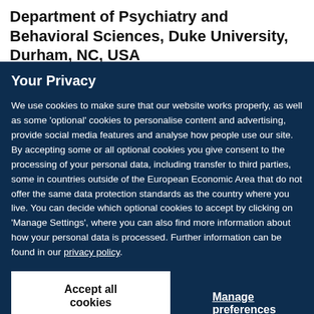Department of Psychiatry and Behavioral Sciences, Duke University, Durham, NC, USA
T.E Moffitt, K Sugden, B Williams & A Caspi
Your Privacy
We use cookies to make sure that our website works properly, as well as some 'optional' cookies to personalise content and advertising, provide social media features and analyse how people use our site. By accepting some or all optional cookies you give consent to the processing of your personal data, including transfer to third parties, some in countries outside of the European Economic Area that do not offer the same data protection standards as the country where you live. You can decide which optional cookies to accept by clicking on 'Manage Settings', where you can also find more information about how your personal data is processed. Further information can be found in our privacy policy.
Accept all cookies
Manage preferences